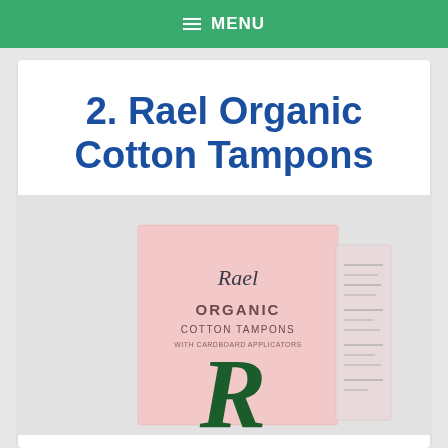MENU
2. Rael Organic Cotton Tampons
[Figure (photo): Product photo of Rael Organic Cotton Tampons box — a pink rectangular box with the Rael logo and a large decorative R in dark green, with a side panel showing product information.]